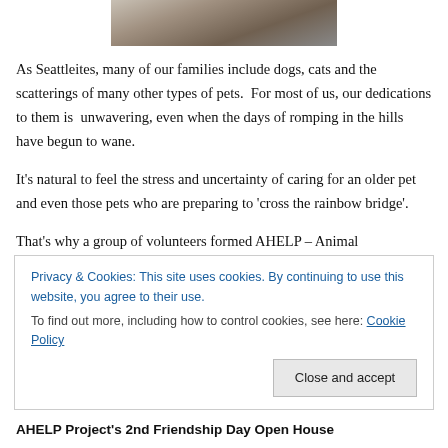[Figure (photo): Partial photo of an animal (likely a dog or cat) cropped at the top of the page]
As Seattleites, many of our families include dogs, cats and the scatterings of many other types of pets.  For most of us, our dedications to them is  unwavering, even when the days of romping in the hills have begun to wane.
It's natural to feel the stress and uncertainty of caring for an older pet and even those pets who are preparing to 'cross the rainbow bridge'.
That's why a group of volunteers formed AHELP – Animal
Privacy & Cookies: This site uses cookies. By continuing to use this website, you agree to their use.
To find out more, including how to control cookies, see here: Cookie Policy
Close and accept
AHELP Project's 2nd Friendship Day Open House